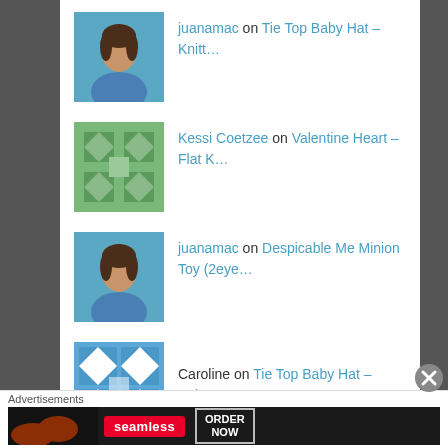juanamac on Tie Top Baby Hat – Knitt…
Kessi Coetzee on Valentine Heart – Flat K…
juanamac on Despicable Me Minion Toy (2eye…
Caroline on Tie Top Baby Hat – Knitt…
25 Poppy Knitted Pat… on Remembrance Day Poppy Knitting…
Recent Posts
Advertisements
[Figure (screenshot): Seamless food ordering advertisement banner with pizza image, Seamless logo, and ORDER NOW button]